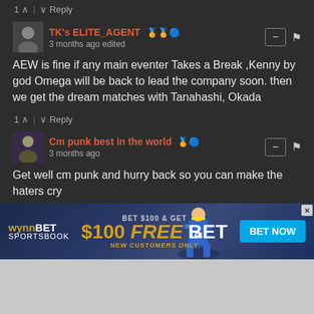1 ^ | v Reply
TK's ELITE_AGENT 3 months ago edited
AEW is fine if any main eventer Takes a Break ,Kenny by god Omega will be back to lead the company soon. then we get the dream matches with Tanahashi, Okada
1 ^ | v Reply
Cm punk best in the world 3 months ago
Get well cm punk and hurry back so you can make the haters cry
1 ^ | v Reply
Tony Kahns Coke Stash
[Figure (infographic): WynnBET Sportsbook advertisement banner: BET $100 & GET $100 FREE BET NEW CUSTOMERS ONLY with BET NOW button]